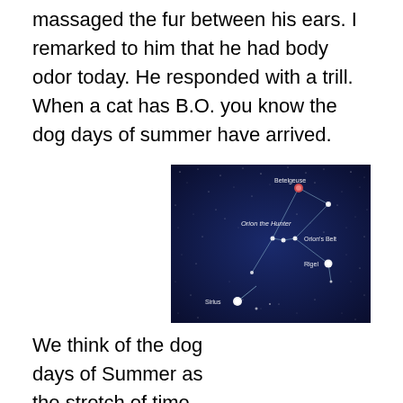massaged the fur between his ears. I remarked to him that he had body odor today. He responded with a trill. When a cat has B.O. you know the dog days of summer have arrived.
We think of the dog days of Summer as the stretch of time between early July and early September in the Northern Hemisphere when the most sultry, hot weather envelopes the environment. Dog days are so named because, in rural areas, where the sky is not obscured by light pollution, we can more clearly observe
[Figure (illustration): Star chart showing Orion the Hunter constellation on a dark blue starry background, with labeled stars: Betelgeuse (top), Orion's Belt (middle right), Rigel (right), and Sirius (bottom left) with an arrow pointing to it.]